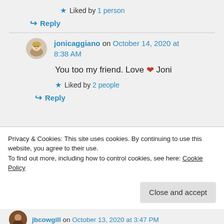★ Liked by 1 person
↪ Reply
jonicaggiano on October 14, 2020 at 8:38 AM
You too my friend. Love ❤ Joni
★ Liked by 2 people
↪ Reply
Privacy & Cookies: This site uses cookies. By continuing to use this website, you agree to their use.
To find out more, including how to control cookies, see here: Cookie Policy
Close and accept
jbcowgill on October 13, 2020 at 3:47 PM